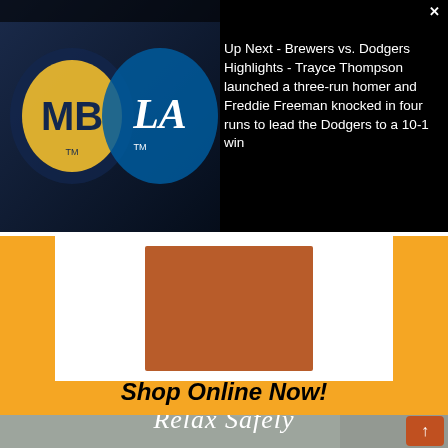Ad 1 of 1 (0:30)
[Figure (screenshot): Baseball ad overlay showing Milwaukee Brewers and LA Dodgers logos on dark background with text: Up Next - Brewers vs. Dodgers Highlights - Trayce Thompson launched a three-run homer and Freddie Freeman knocked in four runs to lead the Dodgers to a 10-1 win]
[Figure (other): Orange/amber background shopping ad with white product display area showing a rust/terracotta colored fabric/towel item]
Shop Online Now!
[Figure (photo): Woman receiving a facial treatment with a brush, eyes closed, wearing a white headband. Semi-transparent grey-green overlay at bottom reading Relax Safely in cursive script.]